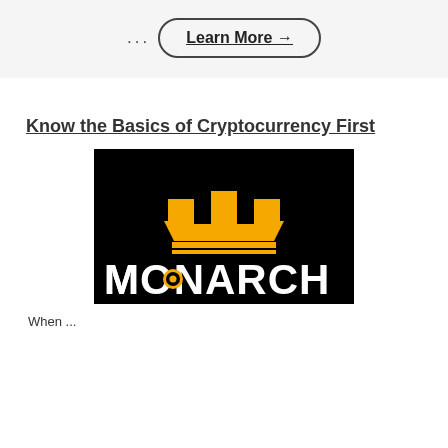... Learn More →
Know the Basics of Cryptocurrency First
[Figure (logo): Monarch cryptocurrency logo — black background with a gold/orange crown icon and white 'MONARCH' text below it with an orange circle as the O]
When ...